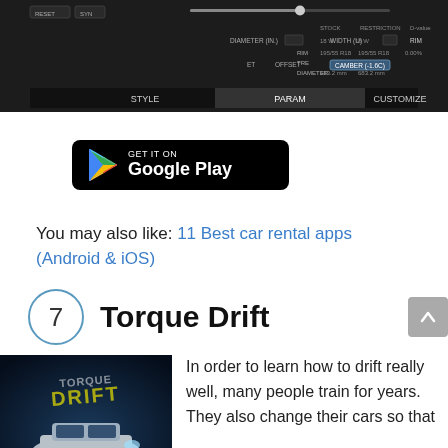[Figure (screenshot): Dark UI screenshot of a car customization screen showing parameters like STYLE, PARAM, CUSTOMIZE with sliders and options for DIAMETER, WIDTH, RIM, TRE, CAMBER, OFFSET with STOCK and RESTRICTION columns]
[Figure (logo): GET IT ON Google Play badge - black rounded rectangle with Google Play triangle logo and white text]
You may also like: 11 Best car rental apps (Android & iOS)
7  Torque Drift
[Figure (photo): Torque Drift game cover art showing a drifting car with dramatic lighting, game title 'TORQUE DRIFT' in stylized text]
In order to learn how to drift really well, many people train for years. They also change their cars so that